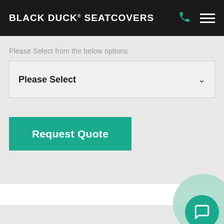BLACK DUCK® SEATCOVERS
Please Select from the below options
Please Select
Request Quote